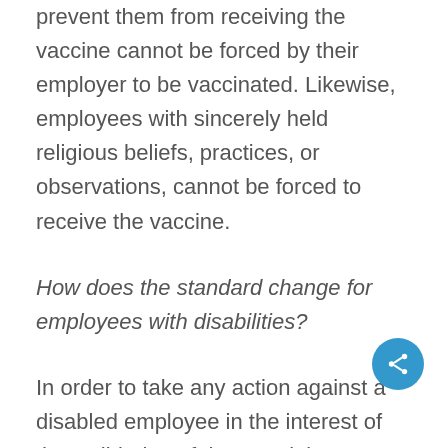prevent them from receiving the vaccine cannot be forced by their employer to be vaccinated. Likewise, employees with sincerely held religious beliefs, practices, or observations, cannot be forced to receive the vaccine.
How does the standard change for employees with disabilities?
In order to take any action against a disabled employee in the interest of the well-being of the remaining workers, an employer must show that the unvaccinated disabled employee poses a direct threat to the health of others, and that the threat is not able to be reduced by a reasonable accommodation. The employer must